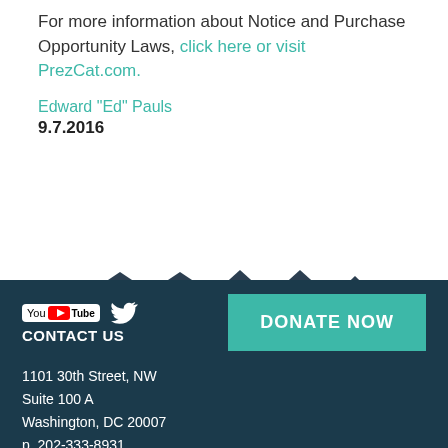For more information about Notice and Purchase Opportunity Laws, click here or visit PrezCat.com.
Edward "Ed" Pauls
9.7.2016
[Figure (illustration): Silhouette illustration of a row of townhouse/apartment buildings in dark navy blue, with white windows and doors, and trees on the right side.]
YouTube Twitter CONTACT US | DONATE NOW | 1101 30th Street, NW Suite 100 A Washington, DC 20007 p. 202-333-8931